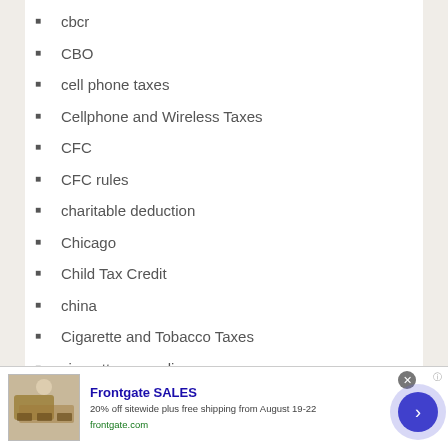cbcr
CBO
cell phone taxes
Cellphone and Wireless Taxes
CFC
CFC rules
charitable deduction
Chicago
Child Tax Credit
china
Cigarette and Tobacco Taxes
cigarette smuggling
cigarette tax
[Figure (screenshot): Advertisement banner for Frontgate SALES showing outdoor furniture, text '20% off sitewide plus free shipping from August 19-22', URL frontgate.com, with a close button and navigation arrow]